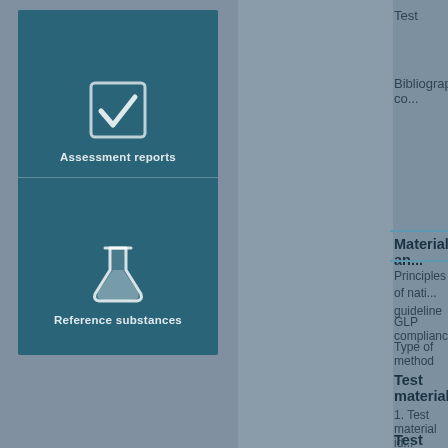[Figure (illustration): Teal/dark blue panel with two icons: a checkmark icon with label 'Assessment reports' and a flask/beaker icon with label 'Reference substances']
Test
Bibliographic co...
Materials an...
Principles of nati... guideline
GLP compliance
Type of method
Test material
1. Test material id...
Test animals